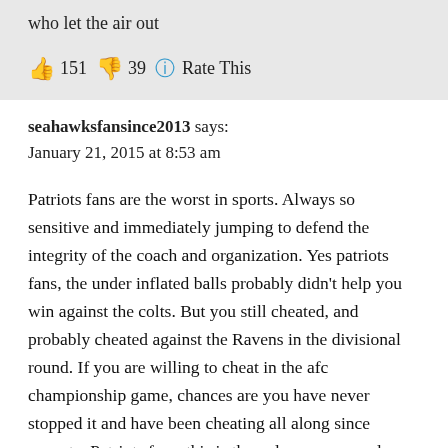who let the air out
👍 151 👎 39 ℹ Rate This
seahawksfansince2013 says:
January 21, 2015 at 8:53 am
Patriots fans are the worst in sports. Always so sensitive and immediately jumping to defend the integrity of the coach and organization. Yes patriots fans, the under inflated balls probably didn't help you win against the colts. But you still cheated, and probably cheated against the Ravens in the divisional round. If you are willing to cheat in the afc championship game, chances are you have never stopped it and have been cheating all along since spygate. Patriots fans, this is the only reason people hate you. They don't envy your fake dynasty. They are not jealous of accomplishments gained through cheating. They hate you because of your delusional attitude to it, complete ignorance of it, and stubbornness to admit the truth. Your dynasty is a sham built of cheating and